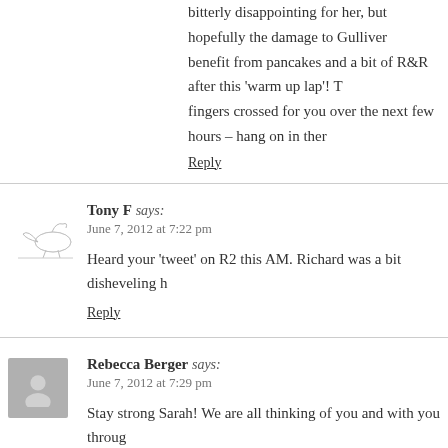bitterly disappointing for her, but hopefully the damage to Gulliver benefit from pancakes and a bit of R&R after this 'warm up lap'! T fingers crossed for you over the next few hours – hang on in ther
Reply
Tony F says:
June 7, 2012 at 7:22 pm
Heard your 'tweet' on R2 this AM. Richard was a bit disheveling h
Reply
Rebecca Berger says:
June 7, 2012 at 7:29 pm
Stay strong Sarah! We are all thinking of you and with you throug
Reply